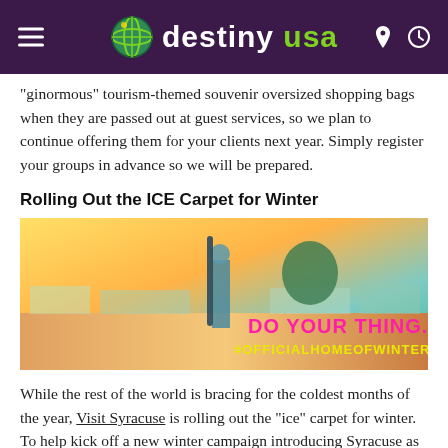destiny usa
“ginormous” tourism-themed souvenir oversized shopping bags when they are passed out at guest services, so we plan to continue offering them for your clients next year. Simply register your groups in advance so we will be prepared.
Rolling Out the ICE Carpet for Winter
[Figure (photo): A person standing outdoors with a snowboard, with a colorful tinted landscape background. Text overlay reads 'DO YOUR THING. #OFFICIALHOMEOFWINTER' in pink and yellow.]
While the rest of the world is bracing for the coldest months of the year, Visit Syracuse is rolling out the “ice” carpet for winter. To help kick off a new winter campaign introducing Syracuse as the Official Home